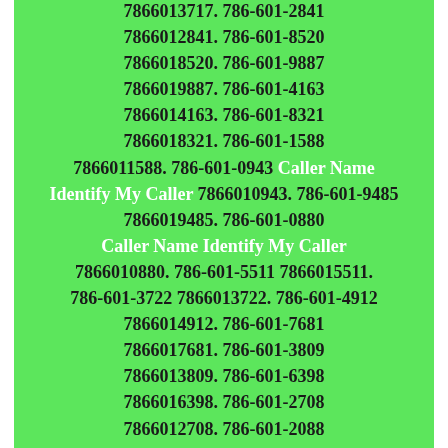7866013717. 786-601-2841 7866012841. 786-601-8520 7866018520. 786-601-9887 7866019887. 786-601-4163 7866014163. 786-601-8321 7866018321. 786-601-1588 7866011588. 786-601-0943 Caller Name Identify My Caller 7866010943. 786-601-9485 7866019485. 786-601-0880 Caller Name Identify My Caller 7866010880. 786-601-5511 7866015511. 786-601-3722 7866013722. 786-601-4912 7866014912. 786-601-7681 7866017681. 786-601-3809 7866013809. 786-601-6398 7866016398. 786-601-2708 7866012708. 786-601-2088 7866012088. 786-601-1265 7866011265. 786-601-9357 7866019357. 786-601-8671 7866018671. 786-601-9315 7866019315. 786-601-9091 7866019091. 786-601-2052 7866012052. 786-601-8767 7866018767. 786-601-8151 7866018151. 786-601-7279